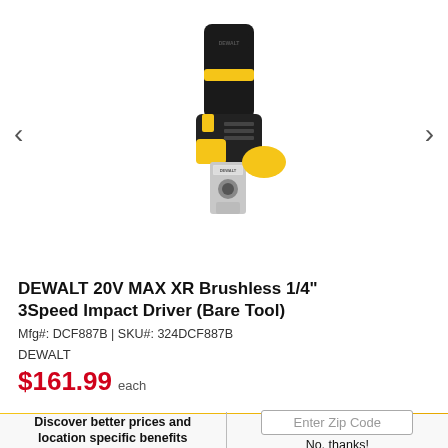[Figure (photo): DEWALT 20V MAX XR Brushless 1/4 inch Impact Driver (DCF887B) product photo showing black and yellow cordless tool with bit holder attachment]
DEWALT 20V MAX XR Brushless 1/4" 3Speed Impact Driver (Bare Tool)
Mfg#: DCF887B | SKU#: 324DCF887B
DEWALT
$161.99 each
Discover better prices and location specific benefits
Enter Zip Code
No, thanks!